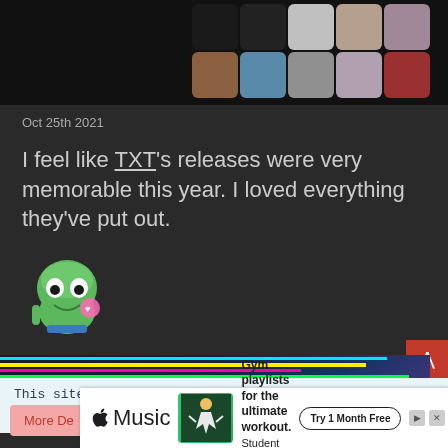[Figure (screenshot): Dark background with grid of K-pop artist thumbnail images in top section]
Oct 25th 2021
I feel like TXT's releases were very memorable this year. I loved everything they've put out.
[Figure (illustration): Pepe the frog meme emoji with heart eyes blowing a kiss]
[Figure (photo): Glitchy colorful auto repair advertisement banner with neon colors]
This site uses cookies. By continuing to browse this site, you are agreeing to our use of cookies.
[Figure (screenshot): Apple Music advertisement - Gym playlists for the ultimate workout. Student Plan only $5.99/mo. Try 1 Month Free]